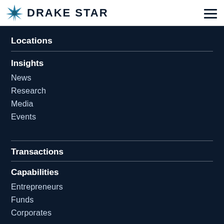[Figure (logo): Drake Star logo with star icon and bold uppercase text DRAKE STAR]
Locations
Insights
News
Research
Media
Events
Transactions
Capabilities
Entrepreneurs
Funds
Corporates